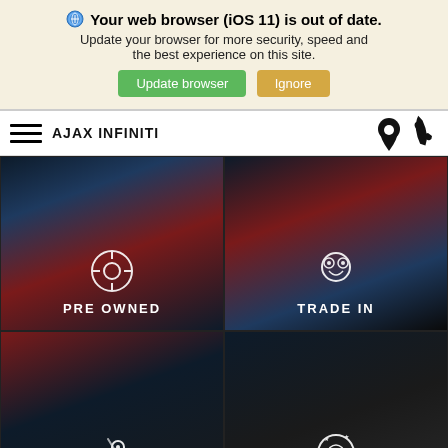Your web browser (iOS 11) is out of date. Update your browser for more security, speed and the best experience on this site.
Update browser | Ignore
AJAX INFINITI
[Figure (screenshot): 2x2 grid of dark car photo tiles labeled PRE OWNED, TRADE IN, SCHEDULE SERVICE, TIRE SHOP with white icons]